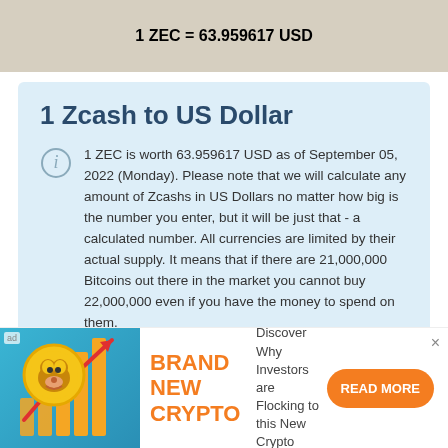1 ZEC = 63.959617 USD
1 Zcash to US Dollar
1 ZEC is worth 63.959617 USD as of September 05, 2022 (Monday). Please note that we will calculate any amount of Zcashs in US Dollars no matter how big is the number you enter, but it will be just that - a calculated number. All currencies are limited by their actual supply. It means that if there are 21,000,000 Bitcoins out there in the market you cannot buy 22,000,000 even if you have the money to spend on them.
[Figure (illustration): Advertisement banner showing a Shiba Inu dog coin with orange bar chart and upward red arrow, brand new crypto ad]
BRAND NEW CRYPTO
Discover Why Investors are Flocking to this New Crypto
READ MORE